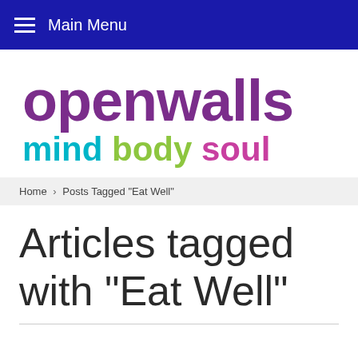Main Menu
[Figure (logo): Openwalls mind body soul logo — 'openwalls' in large purple bold text, 'mind' in cyan, 'body' in green, 'soul' in magenta]
Home > Posts Tagged "Eat Well"
Articles tagged with "Eat Well"